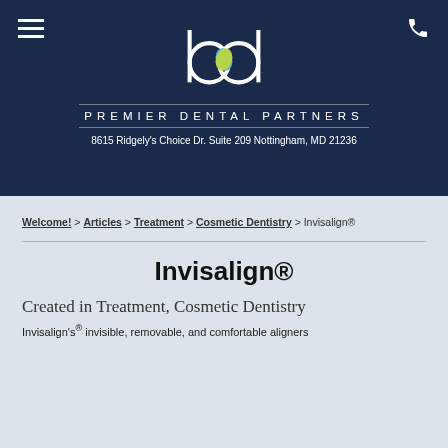[Figure (logo): Premier Dental Partners circular logo with stylized 'p', 'd' letters and a leaf motif in blue and green on dark navy background]
8615 Ridgely's Choice Dr. Suite 209 Nottingham, MD 21236
Welcome! > Articles > Treatment > Cosmetic Dentistry > Invisalign®
Invisalign®
Created in Treatment, Cosmetic Dentistry
Invisalign's® invisible, removable, and comfortable aligners